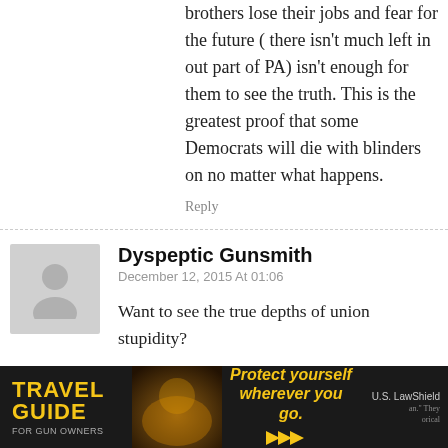brothers lose their jobs and fear for the future ( there isn't much left in out part of PA) isn't enough for them to see the truth. This is the greatest proof that some Democrats will die with blinders on no matter what happens.
Reply
Dyspeptic Gunsmith
December 12, 2015 At 01:06
Want to see the true depths of union stupidity?

Go to Trinidad, Colorado. From Pueblo to the southern border of Colorado is hard-core union country. They looooove to talk about the battles with the government about 100 years ago,
[Figure (photo): Advertisement banner for Travel Guide for Gun Owners featuring text 'Protect yourself wherever you go.' with arrows and U.S. LawShield branding on dark background]